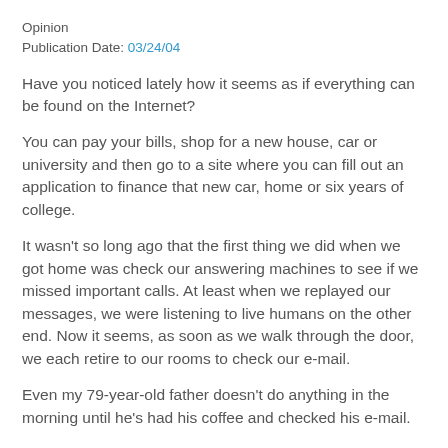Opinion
Publication Date: 03/24/04
Have you noticed lately how it seems as if everything can be found on the Internet?
You can pay your bills, shop for a new house, car or university and then go to a site where you can fill out an application to finance that new car, home or six years of college.
It wasn't so long ago that the first thing we did when we got home was check our answering machines to see if we missed important calls. At least when we replayed our messages, we were listening to live humans on the other end. Now it seems, as soon as we walk through the door, we each retire to our rooms to check our e-mail.
Even my 79-year-old father doesn't do anything in the morning until he's had his coffee and checked his e-mail.
I recently saw a commercial in which a mother prepares dinner and then sends the family an e-mail announcing the